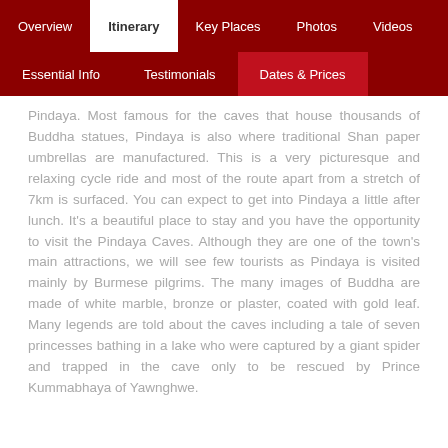Overview | Itinerary | Key Places | Photos | Videos | Essential Info | Testimonials | Dates & Prices
Pindaya. Most famous for the caves that house thousands of Buddha statues, Pindaya is also where traditional Shan paper umbrellas are manufactured. This is a very picturesque and relaxing cycle ride and most of the route apart from a stretch of 7km is surfaced. You can expect to get into Pindaya a little after lunch. It's a beautiful place to stay and you have the opportunity to visit the Pindaya Caves. Although they are one of the town's main attractions, we will see few tourists as Pindaya is visited mainly by Burmese pilgrims. The many images of Buddha are made of white marble, bronze or plaster, coated with gold leaf. Many legends are told about the caves including a tale of seven princesses bathing in a lake who were captured by a giant spider and trapped in the cave only to be rescued by Prince Kummabhaya of Yawnghwe.